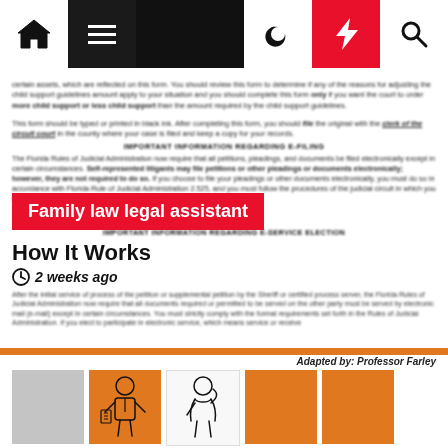Navigation bar with home, menu, moon, bolt, and search icons
certain assets, which are reflected on this form. You should review this form to determine if any of the reasons for adjusting the child support guidelines amount apply to your situation and you should complete this form only if you want the court to order more child support or less child support than the amount required by the child support guidelines.
This form should be typed or printed in black ink. After completing this form, you should file the original with the clerk of the circuit court in the county where your case is filed and keep a copy for your records.
IMPORTANT INFORMATION REGARDING E-FILING
The Florida Rules of Judicial Administration now require that all petitions, pleadings, and documents be filed electronically except in certain circumstances. Self-represented litigants may file petitions or other pleadings or documents electronically; however, they are not required to do so. If you choose to file your pleadings or other documents electronically, you must do so in accordance with Florida Rule of Judicial Administration 2.525, and you must follow the procedures of the judicial circuit in which you file. The rules and procedures should be carefully read and followed.
Family law legal assistant
How It Works
2 weeks ago
After the initial service of process of the petition or supplemental petition by the Sheriff or certified process server, the Florida Rules of Judicial Administration now require that all documents required or permitted to be served on the other party must be served by electronic mail (e-mail) except in certain circumstances. You must strictly comply with the format requirements set forth in the Rules of Judicial Administration. If you elect to participate in electronic service, which means service or receive...
Adapted by: Professor Farley
[Figure (illustration): Strip of five image boxes: gray box, illustrated figure of businessman with documents, illustrated figure of person thinking, orange box, orange box]